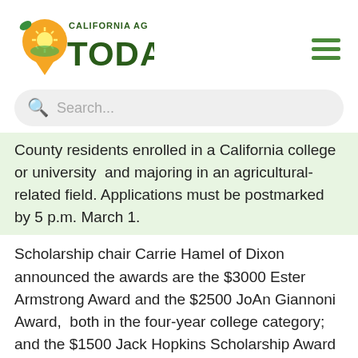[Figure (logo): California Ag Today logo with orange location pin icon and green TODAY text]
Search...
County residents enrolled in a California college or university and majoring in an agricultural-related field. Applications must be postmarked by 5 p.m. March 1.
Scholarship chair Carrie Hamel of Dixon announced the awards are the $3000 Ester Armstrong Award and the $2500 JoAn Giannoni Award, both in the four-year college category; and the $1500 Jack Hopkins Scholarship Award to a student attending a two-year college. In addition, three $2000 scholarships will be given in the four-year college category; and two 1000 scholarships, in the two-year college category